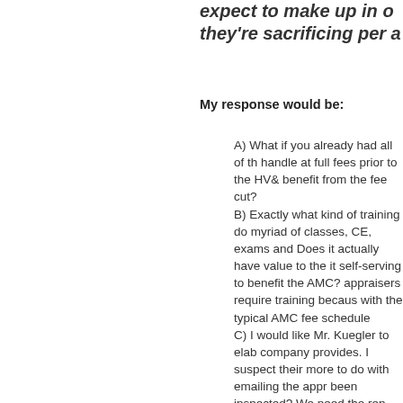expect to make up in o they're sacrificing per a
My response would be:
A) What if you already had all of the business you could handle at full fees prior to the HVC cut? How do you benefit from the fee cut?
B) Exactly what kind of training do they provide? A myriad of classes, CE, exams and designations? Does it actually have value to the consumer or is it self-serving to benefit the AMC? Do the appraisers require training because they work with the typical AMC fee schedule?
C) I would like Mr. Kuegler to elaborate on what his company provides. I suspect their "technology" has more to do with emailing the appraisers. Has it been inspected? We need the report the same day we ordered it. Tardy reports will result in "loss of services." Or perhaps they offer higher volume and can greatly increase the volume of orders and will lower your fees down to $175 or perhaps suggesting to GM that they could